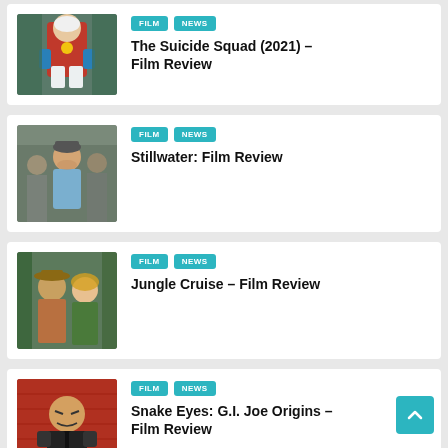The Suicide Squad (2021) – Film Review
Stillwater: Film Review
Jungle Cruise – Film Review
Snake Eyes: G.I. Joe Origins – Film Review